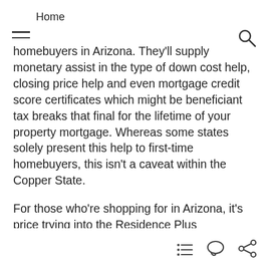Home
homebuyers in Arizona. They'll supply monetary assist in the type of down cost help, closing price help and even mortgage credit score certificates which might be beneficiant tax breaks that final for the lifetime of your property mortgage. Whereas some states solely present this help to first-time homebuyers, this isn't a caveat within the Copper State.
For those who're shopping for in Arizona, it's price trying into the Residence Plus Homebuyer Down Fee Help Program, which helps income- and credit-eligible homebuyers with a 30-year fixed-rate